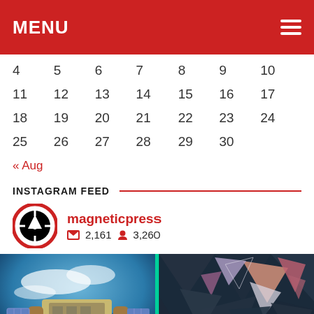MENU
| 4 | 5 | 6 | 7 | 8 | 9 | 10 |
| 11 | 12 | 13 | 14 | 15 | 16 | 17 |
| 18 | 19 | 20 | 21 | 22 | 23 | 24 |
| 25 | 26 | 27 | 28 | 29 | 30 |  |
« Aug
INSTAGRAM FEED
magneticpress  2,161  3,260
[Figure (photo): Two Instagram photos side by side: left shows a sci-fi space station scene with blue sky, right shows abstract dark blue geometric triangles]